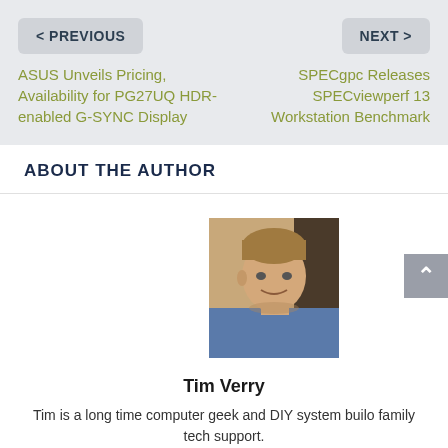< PREVIOUS
NEXT >
ASUS Unveils Pricing, Availability for PG27UQ HDR-enabled G-SYNC Display
SPECgpc Releases SPECviewperf 13 Workstation Benchmark
ABOUT THE AUTHOR
[Figure (photo): Portrait photo of Tim Verry, a man with light brown hair wearing a blue shirt]
Tim Verry
Tim is a long time computer geek and DIY system build... family tech support.